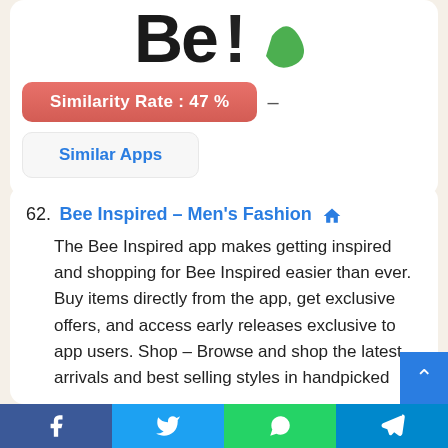[Figure (logo): Partial app logo visible at top — large bold text with green accent]
Similarity Rate : 47 %
Similar Apps
62. Bee Inspired – Men's Fashion
The Bee Inspired app makes getting inspired and shopping for Bee Inspired easier than ever. Buy items directly from the app, get exclusive offers, and access early releases exclusive to app users. Shop – Browse and shop the latest arrivals and best selling styles in handpicked